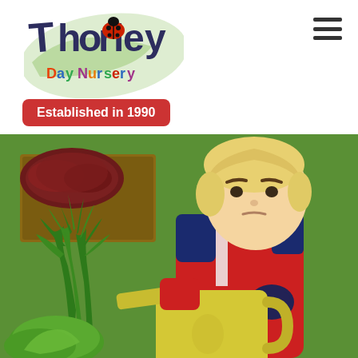[Figure (logo): Thorley Day Nursery logo with ladybird on a green leaf, colorful text reading 'Thorley Day Nursery']
Established in 1990
[Figure (photo): A young blonde toddler in a red jacket holding a yellow watering can, surrounded by green plants and vegetables in a garden area with green artificial turf background]